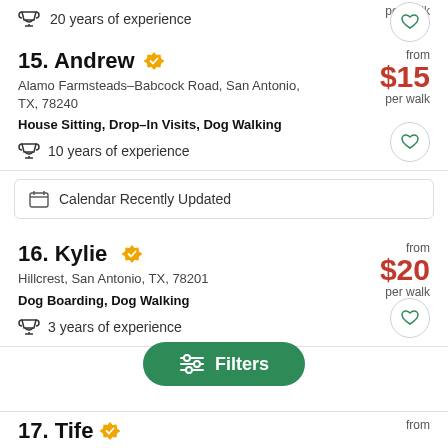per walk
20 years of experience
15. Andrew
Alamo Farmsteads–Babcock Road, San Antonio, TX, 78240
House Sitting, Drop–In Visits, Dog Walking
10 years of experience
from $15 per walk
Calendar Recently Updated
16. Kylie
Hillcrest, San Antonio, TX, 78201
Dog Boarding, Dog Walking
3 years of experience
from $20 per walk
Filters
17. Tife
from